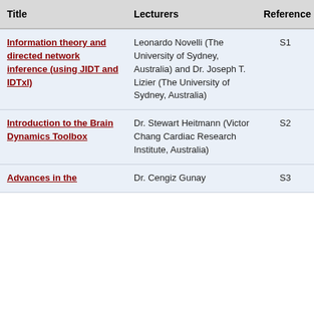| Title | Lecturers | Reference | Web |
| --- | --- | --- | --- |
| Information theory and directed network inference (using JIDT and IDTxl) | Leonardo Novelli (The University of Sydney, Australia) and Dr. Joseph T. Lizier (The University of Sydney, Australia) | S1 | Link |
| Introduction to the Brain Dynamics Toolbox | Dr. Stewart Heitmann (Victor Chang Cardiac Research Institute, Australia) | S2 | TBA |
| Advances in the | Dr. Cengiz Gunay | S3 | Link |